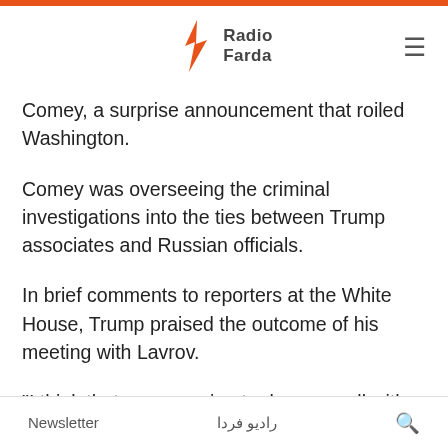Radio Farda
Comey, a surprise announcement that roiled Washington.
Comey was overseeing the criminal investigations into the ties between Trump associates and Russian officials.
In brief comments to reporters at the White House, Trump praised the outcome of his meeting with Lavrov.
"I think that we are going to do very well with respect to Syria. I think things are happening. They are really, really, really positive," Trump said
Newsletter   رادیو فردا   🔍